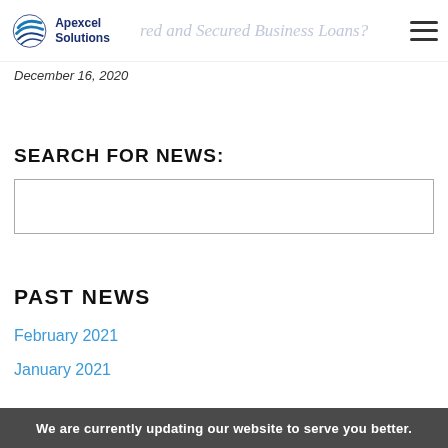Apexcel Solutions — Are Unsecured and Secured Business Loans?
December 16, 2020
SEARCH FOR NEWS:
PAST NEWS
February 2021
January 2021
We are currently updating our website to serve you better.